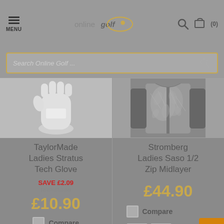MENU | onlinegolf | Search (0)
[Figure (screenshot): Search bar with placeholder text 'Search Online Golf...' and search icon]
[Figure (photo): TaylorMade Ladies Stratus Tech Glove product image - white golf glove]
TaylorMade Ladies Stratus Tech Glove
SAVE £2.09
RRP £12.99
£10.90
Compare
[Figure (photo): Small thumbnail image of TaylorMade glove]
[Figure (photo): Stromberg Ladies Saso 1/2 Zip Midlayer product image - dark floral pattern]
Stromberg Ladies Saso 1/2 Zip Midlayer
£44.90
Compare
[Figure (photo): Color swatch - pink/burgundy pattern]
[Figure (photo): Color swatch - dark charcoal]